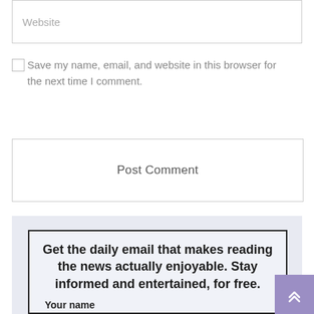Website
Save my name, email, and website in this browser for the next time I comment.
Post Comment
[Figure (infographic): Newsletter signup box with dark border on light purple background. Text reads: Get the daily email that makes reading the news actually enjoyable. Stay informed and entertained, for free. Followed by 'Your name' field label.]